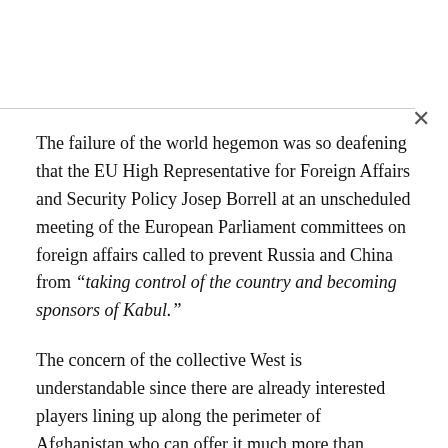The failure of the world hegemon was so deafening that the EU High Representative for Foreign Affairs and Security Policy Josep Borrell at an unscheduled meeting of the European Parliament committees on foreign affairs called to prevent Russia and China from “taking control of the country and becoming sponsors of Kabul.”
The concern of the collective West is understandable since there are already interested players lining up along the perimeter of Afghanistan who can offer it much more than military occupation and control through a puppet government